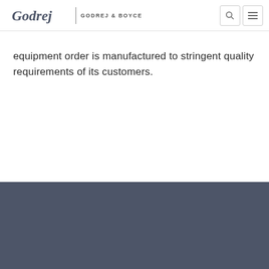Godrej & Boyce
equipment order is manufactured to stringent quality requirements of its customers.